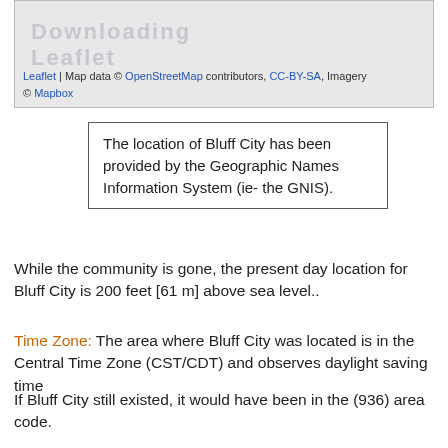[Figure (map): Map thumbnail showing Bluff City location with Leaflet/OpenStreetMap attribution and Mapbox imagery credit at bottom left.]
The location of Bluff City has been provided by the Geographic Names Information System (ie- the GNIS).
While the community is gone, the present day location for Bluff City is 200 feet [61 m] above sea level..
Time Zone: The area where Bluff City was located is in the Central Time Zone (CST/CDT) and observes daylight saving time
If Bluff City still existed, it would have been in the (936) area code.
Communities Also Named Bluff City ...
Using our Gazetteer, we have found that there are 10 communities that are also named Bluff City - they are located in Alabama, Arkansas,